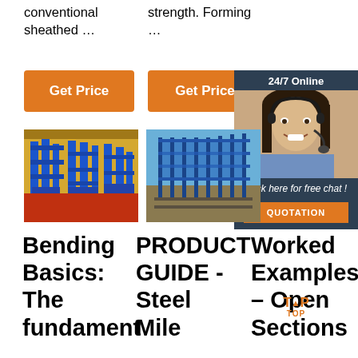conventional sheathed …
strength. Forming …
[Figure (other): Orange 'Get Price' button]
[Figure (other): Orange 'Get Price' button]
[Figure (other): 24/7 Online chat widget with agent photo and QUOTATION button]
[Figure (photo): Industrial roll forming or welding machinery with blue equipment]
[Figure (photo): Steel fence or wall panels in outdoor setting]
Bending Basics: The fundament…
PRODUCT GUIDE - Steel Mile…
Worked Examples – Open Sections